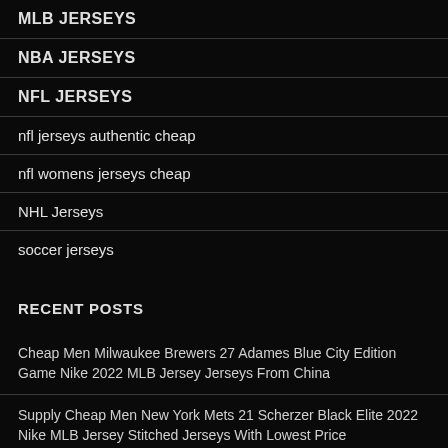MLB JERSEYS
NBA JERSEYS
NFL JERSEYS
nfl jerseys authentic cheap
nfl womens jerseys cheap
NHL Jerseys
soccer jerseys
RECENT POSTS
Cheap Men Milwaukee Brewers 27 Adames Blue City Edition Game Nike 2022 MLB Jersey Jerseys From China
Supply Cheap Men New York Mets 21 Scherzer Black Elite 2022 Nike MLB Jersey Stitched Jerseys With Lowest Price